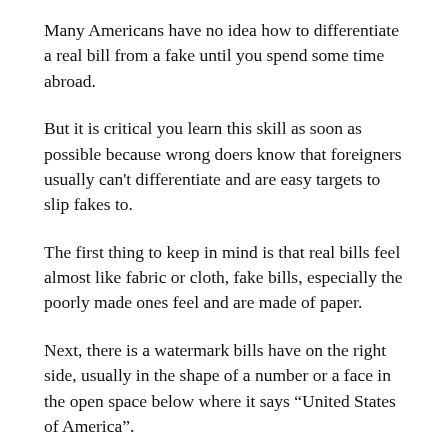Many Americans have no idea how to differentiate a real bill from a fake until you spend some time abroad.
But it is critical you learn this skill as soon as possible because wrong doers know that foreigners usually can't differentiate and are easy targets to slip fakes to.
The first thing to keep in mind is that real bills feel almost like fabric or cloth, fake bills, especially the poorly made ones feel and are made of paper.
Next, there is a watermark bills have on the right side, usually in the shape of a number or a face in the open space below where it says “United States of America”.
It is unlikely the bill is a fake if it has this